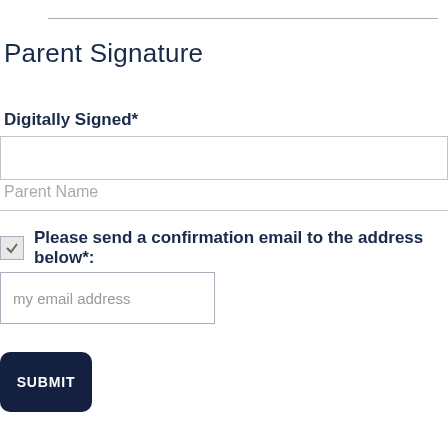Parent Signature
Digitally Signed*
Parent Name
Please send a confirmation email to the address below*:
my email address
SUBMIT